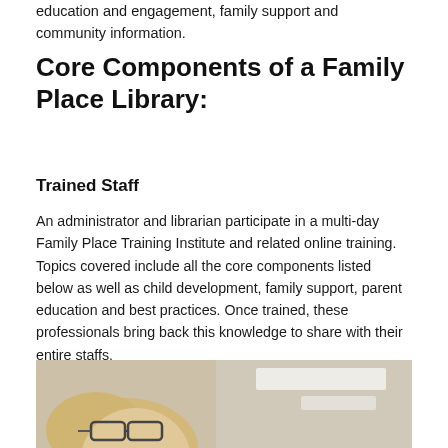education and engagement, family support and community information.
Core Components of a Family Place Library:
Trained Staff
An administrator and librarian participate in a multi-day Family Place Training Institute and related online training. Topics covered include all the core components listed below as well as child development, family support, parent education and best practices. Once trained, these professionals bring back this knowledge to share with their entire staffs.
[Figure (photo): Photo of a person with glasses and blonde hair looking down, taken in an indoor setting with fluorescent ceiling lights visible in the background.]